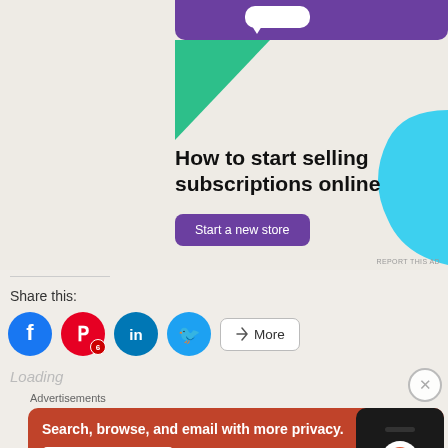[Figure (screenshot): Advertisement banner for an e-commerce platform showing 'How to start selling subscriptions online' with a purple background, green triangle shape, cyan rounded shape, and a purple 'Start a new store' button.]
REPORT THIS AD
Share this:
[Figure (screenshot): Social sharing icons: Facebook (blue circle), Pinterest (red circle with badge showing 6), LinkedIn (dark blue circle), Twitter (light blue circle), and a 'More' button.]
Loading
Advertisements
[Figure (screenshot): DuckDuckGo advertisement on orange-red background: 'Search, browse, and email with more privacy. All in One Free App' with a phone mockup and DuckDuckGo logo.]